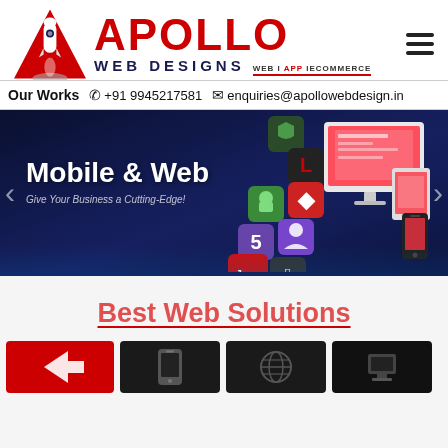[Figure (logo): Apollo Web Designs logo with rocket icon, red APOLLO text, dark blue WEB DESIGNS text, and WEB | APP | ECOMMERCE tagline]
Our Works  ☎ +91 9945217581  ✉ enquiries@apollowebdesign.in
[Figure (photo): Dark blue banner showing Mobile & Web design advertisement with technology icons (HTML5, Java, Android, etc.) and multiple device mockups (desktop, tablet, phone). Text reads: Mobile & Web Give Your Business a Cutting-Edge!]
Best Web Solutions
[Figure (infographic): Bottom row showing four icon boxes: red box with arrow icon, dark box with mobile device, dark box with globe/web icon, and another dark box]